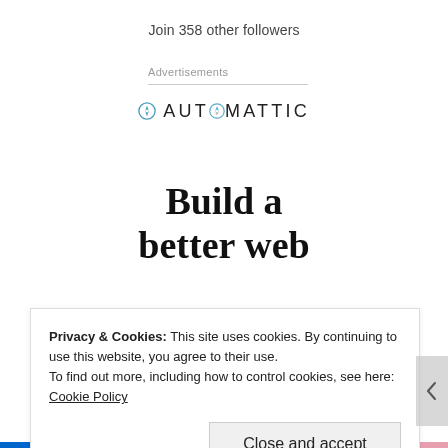Join 358 other followers
Advertisements
[Figure (logo): Automattic logo with compass icon in letter O]
Build a better web
Privacy & Cookies: This site uses cookies. By continuing to use this website, you agree to their use.
To find out more, including how to control cookies, see here: Cookie Policy
Close and accept